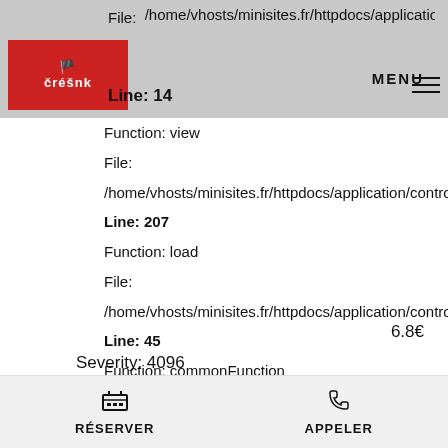File: /home/vhosts/minisites.fr/httpdocs/application/libraries/Te... Line: 14  MENU
Function: view
File:
/home/vhosts/minisites.fr/httpdocs/application/controllers/...
Line: 207
Function: load
File:
/home/vhosts/minisites.fr/httpdocs/application/controllers/...
Line: 45
Function: commonFunction
File:
/home/vhosts/minisites.fr/httpdocs/index.php
Line: 276
Function: require_once
6.8€
Severity: 4096
RÉSERVER   APPELER